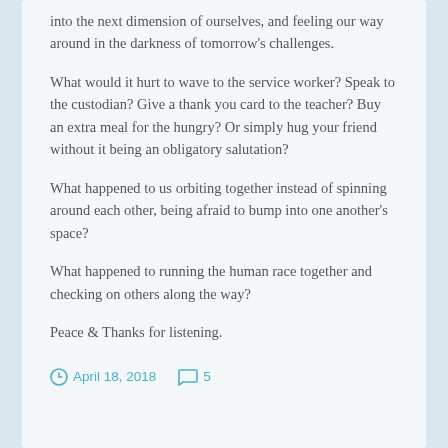into the next dimension of ourselves, and feeling our way around in the darkness of tomorrow's challenges.
What would it hurt to wave to the service worker? Speak to the custodian? Give a thank you card to the teacher? Buy an extra meal for the hungry? Or simply hug your friend without it being an obligatory salutation?
What happened to us orbiting together instead of spinning around each other, being afraid to bump into one another's space?
What happened to running the human race together and checking on others along the way?
Peace & Thanks for listening.
April 18, 2018   5